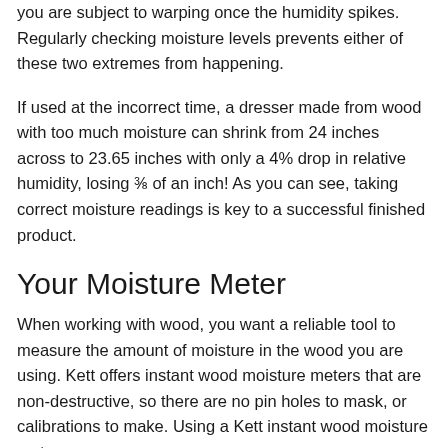you are subject to warping once the humidity spikes. Regularly checking moisture levels prevents either of these two extremes from happening.
If used at the incorrect time, a dresser made from wood with too much moisture can shrink from 24 inches across to 23.65 inches with only a 4% drop in relative humidity, losing ⅜ of an inch! As you can see, taking correct moisture readings is key to a successful finished product.
Your Moisture Meter
When working with wood, you want a reliable tool to measure the amount of moisture in the wood you are using. Kett offers instant wood moisture meters that are non-destructive, so there are no pin holes to mask, or calibrations to make. Using a Kett instant wood moisture meter